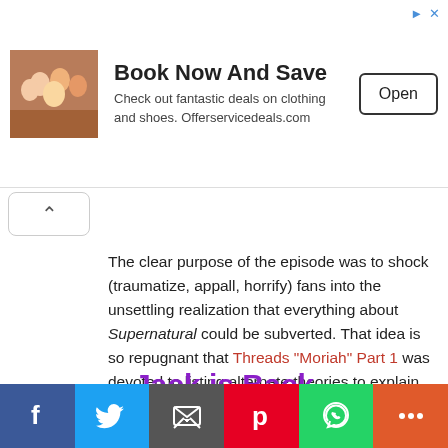[Figure (other): Advertisement banner: image of group of people, text 'Book Now And Save - Check out fantastic deals on clothing and shoes. Offerservicedeals.com', with an Open button]
The clear purpose of the episode was to shock (traumatize, appall, horrify) fans into the unsettling realization that everything about Supernatural could be subverted. That idea is so repugnant that Threads "Moriah" Part 1 was devoted to listing alternate theories to explain Chuck's actions. A week later, I may have come up with the best theory yet.
Jack is Back
[Figure (other): Social media share bar with Facebook, Twitter, Email, Pinterest, WhatsApp, and More buttons]